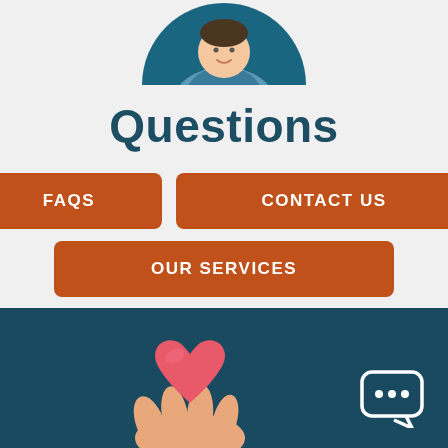[Figure (illustration): Partial view of a circular avatar illustration showing a person in a blue/teal color scheme, cropped at the top of the page]
Questions
FAQS
CONTACT US
OUR SERVICES
[Figure (illustration): Bottom dark teal section with a hand holding a pink heart illustration and a chat bubble icon in the lower right]